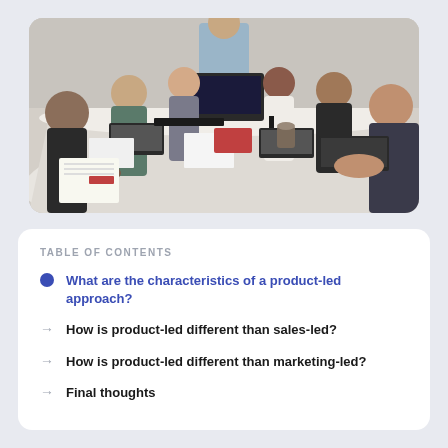[Figure (photo): Business meeting scene with several people sitting around a long conference table, one person standing at the head presenting, laptops and notebooks visible on the table.]
TABLE OF CONTENTS
What are the characteristics of a product-led approach?
How is product-led different than sales-led?
How is product-led different than marketing-led?
Final thoughts